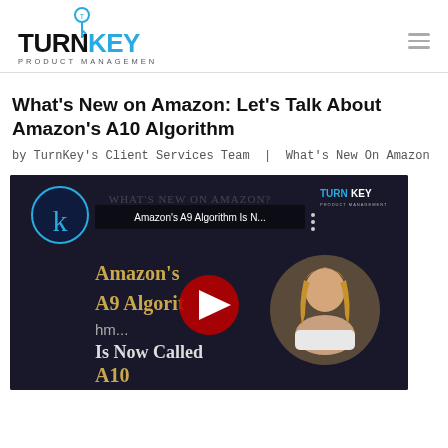TurnKey Product Management
What’s New on Amazon: Let’s Talk About Amazon’s A10 Algorithm
by TurnKey’s Client Services Team | What’s New On Amazon
[Figure (screenshot): YouTube video thumbnail showing 'Amazon’s A9 Algorithm Is N...' with TurnKey branding, text reading 'Amazon’s A9 Algorithm... Is Now Called A10', red YouTube play button overlay, and a circular inset of a woman speaking.]